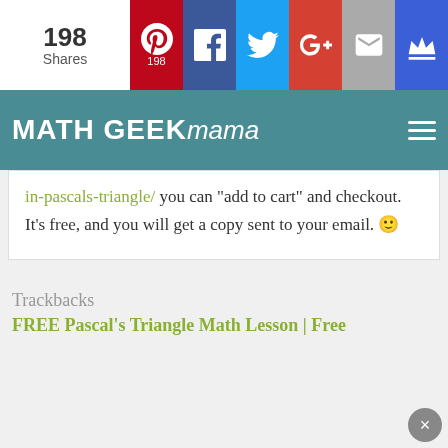198 Shares | Pinterest 198 | Facebook | Twitter | Google+ | Email | Crown
MATH GEEK mama
in-pascals-triangle/ you can “add to cart” and checkout. It’s free, and you will get a copy sent to your email. 🙂
Trackbacks
FREE Pascal’s Triangle Math Lesson | Free